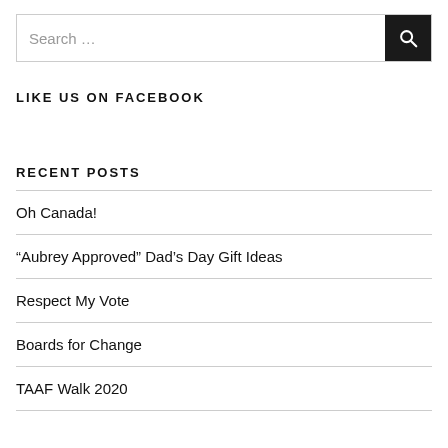Search …
LIKE US ON FACEBOOK
RECENT POSTS
Oh Canada!
“Aubrey Approved” Dad’s Day Gift Ideas
Respect My Vote
Boards for Change
TAAF Walk 2020